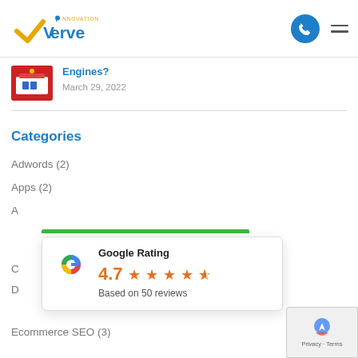Innovation Verve logo with phone and menu icons
Engines?
March 29, 2022
Categories
Adwords (2)
Apps (2)
[Figure (infographic): Google Rating popup showing 4.7 stars based on 50 reviews with Google 'G' logo]
Ecommerce SEO (3)